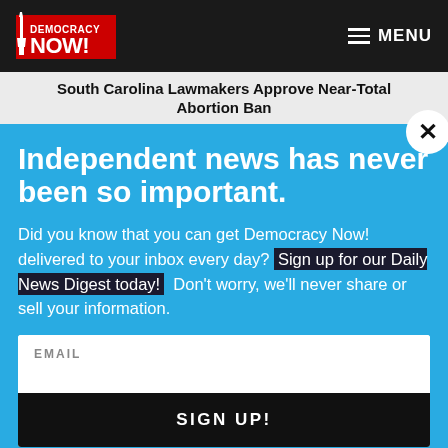Democracy Now! — MENU
South Carolina Lawmakers Approve Near-Total Abortion Ban
Independent news has never been so important.
Did you know that you can get Democracy Now! delivered to your inbox every day? Sign up for our Daily News Digest today! Don't worry, we'll never share or sell your information.
EMAIL
SIGN UP!